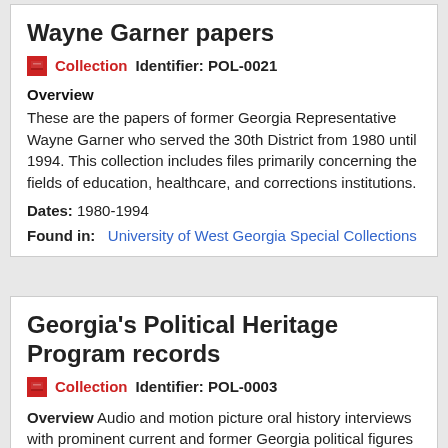Wayne Garner papers
Collection   Identifier: POL-0021
Overview
These are the papers of former Georgia Representative Wayne Garner who served the 30th District from 1980 until 1994. This collection includes files primarily concerning the fields of education, healthcare, and corrections institutions.
Dates: 1980-1994
Found in:   University of West Georgia Special Collections
Georgia's Political Heritage Program records
Collection   Identifier: POL-0003
Overview Audio and motion picture oral history interviews with prominent current and former Georgia political figures representing political history since